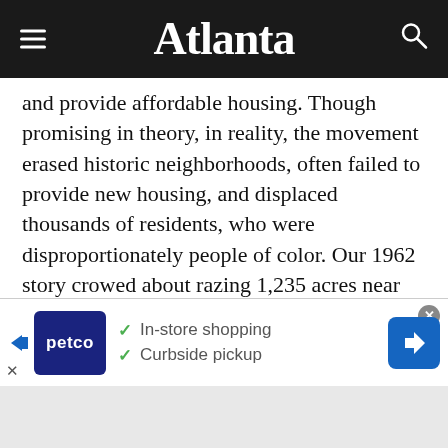Atlanta
and provide affordable housing. Though promising in theory, in reality, the movement erased historic neighborhoods, often failed to provide new housing, and displaced thousands of residents, who were disproportionately people of color. Our 1962 story crowed about razing 1,235 acres near the central business district (the areas around Butler Street, Rawson-Washington Streets, and University Center), selling the land to private interests, and adding $125
[Figure (screenshot): Petco advertisement banner showing In-store shopping and Curbside pickup with checkmarks, Petco logo, navigation arrow icon, and close button]